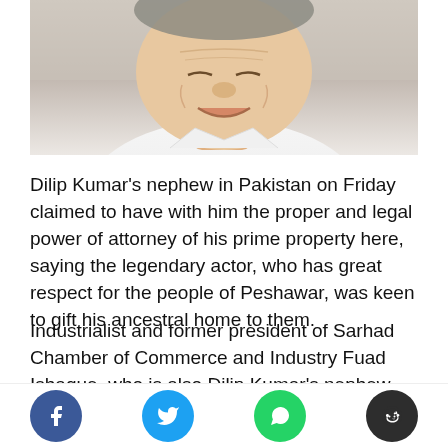[Figure (photo): Close-up photo of an elderly man smiling, wearing a white shirt, cropped to show face and upper chest]
Dilip Kumar's nephew in Pakistan on Friday claimed to have with him the proper and legal power of attorney of his prime property here, saying the legendary actor, who has great respect for the people of Peshawar, was keen to gift his ancestral home to them.
Industrialist and former president of Sarhad Chamber of Commerce and Industry Fuad Ishaque, who is also Dilip Kumar's nephew, told PTI that he has proper and legal power of attorney of the property in Peshawar in his name. He claimed that the 98-year-old veteran Bollywood actor had drafted the proper power of